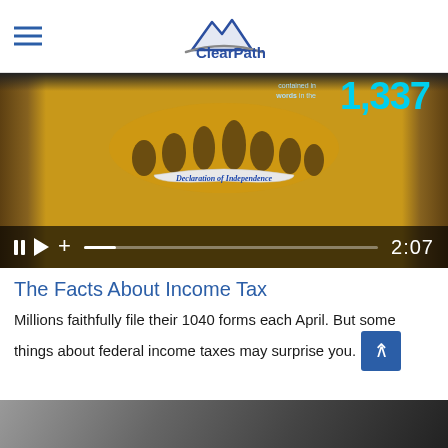ClearPath — FINANCIAL PLANNING & INVESTMENT MANAGEMENT
[Figure (screenshot): Video thumbnail showing a tablet screen displaying Declaration of Independence infographic with '1,337' in blue text on yellow background. Video controls bar at bottom shows pause, play, volume icons, a progress bar, and timestamp 2:07.]
The Facts About Income Tax
Millions faithfully file their 1040 forms each April. But some things about federal income taxes may surprise you.
[Figure (photo): Bottom portion of a photo, partially cropped, showing dark/gray tones.]